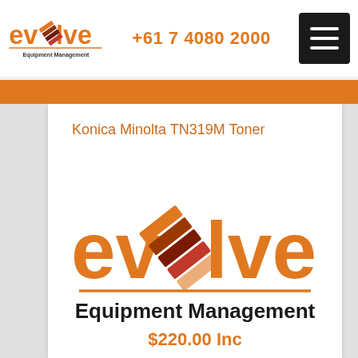Evolve Equipment Management  +61 7 4080 2000
Konica Minolta TN319M Toner
[Figure (logo): Evolve Equipment Management logo — large orange stylized 'evolve' wordmark with three diagonal striped rectangles forming the letter 'o', with 'Equipment Management' text below in black]
$220.00 Inc